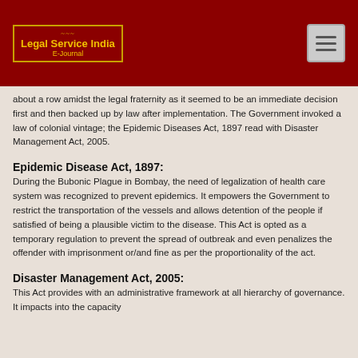Legal Service India E-Journal
about a row amidst the legal fraternity as it seemed to be an immediate decision first and then backed up by law after implementation. The Government invoked a law of colonial vintage; the Epidemic Diseases Act, 1897 read with Disaster Management Act, 2005.
Epidemic Disease Act, 1897:
During the Bubonic Plague in Bombay, the need of legalization of health care system was recognized to prevent epidemics. It empowers the Government to restrict the transportation of the vessels and allows detention of the people if satisfied of being a plausible victim to the disease. This Act is opted as a temporary regulation to prevent the spread of outbreak and even penalizes the offender with imprisonment or/and fine as per the proportionality of the act.
Disaster Management Act, 2005:
This Act provides with an administrative framework at all hierarchy of governance. It impacts into the capacity